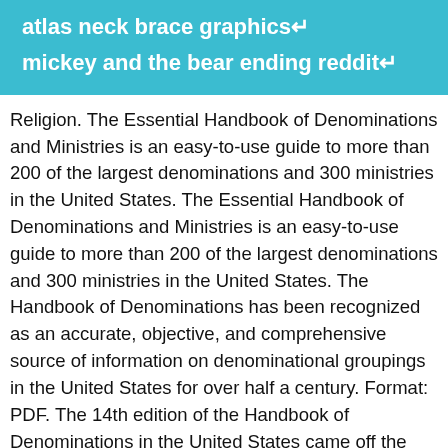atlas neck brace graphics↵
mickey and the bear ending reddit↵
Religion. The Essential Handbook of Denominations and Ministries is an easy-to-use guide to more than 200 of the largest denominations and 300 ministries in the United States. The Essential Handbook of Denominations and Ministries is an easy-to-use guide to more than 200 of the largest denominations and 300 ministries in the United States. The Handbook of Denominations has been recognized as an accurate, objective, and comprehensive source of information on denominational groupings in the United States for over half a century. Format: PDF. The 14th edition of the Handbook of Denominations in the United States came off the press in recent weeks. The Handbook of Denominations in the United States has long been the gold standard for reference works about religious bodies in America. 14 day loan